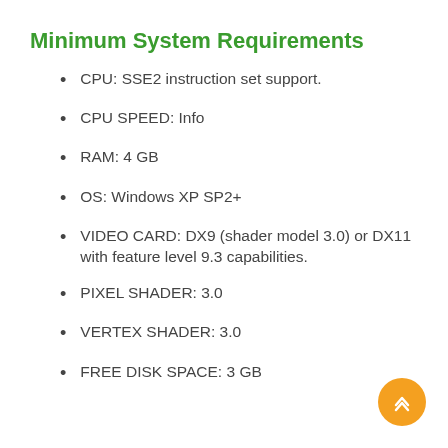Minimum System Requirements
CPU: SSE2 instruction set support.
CPU SPEED: Info
RAM: 4 GB
OS: Windows XP SP2+
VIDEO CARD: DX9 (shader model 3.0) or DX11 with feature level 9.3 capabilities.
PIXEL SHADER: 3.0
VERTEX SHADER: 3.0
FREE DISK SPACE: 3 GB